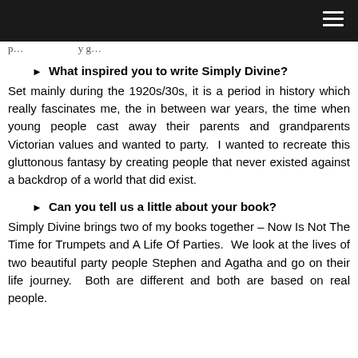[navigation bar with hamburger menu]
p…y g…
What inspired you to write Simply Divine?
Set mainly during the 1920s/30s, it is a period in history which really fascinates me, the in between war years, the time when young people cast away their parents and grandparents Victorian values and wanted to party.  I wanted to recreate this gluttonous fantasy by creating people that never existed against a backdrop of a world that did exist.
Can you tell us a little about your book?
Simply Divine brings two of my books together – Now Is Not The Time for Trumpets and A Life Of Parties.  We look at the lives of two beautiful party people Stephen and Agatha and go on their life journey.  Both are different and both are based on real people.